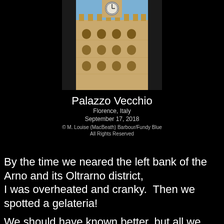[Figure (photo): Photograph of Palazzo Vecchio in Florence, Italy, showing the building's clock tower and stone facade with battlements, viewed from below between narrow streets]
Palazzo Vecchio
Florence, Italy
September 17, 2018
© M. Louise (MacBeath) Barbour/Fundy Blue
All Rights Reserved
By the time we neared the left bank of the Arno and its Oltrarno district,
I was overheated and cranky.  Then we spotted a gelateria!

We should have known better, but all we could think of was getting off our feet
and creamy, cool, rejuvenating gelato sliding down our throats.